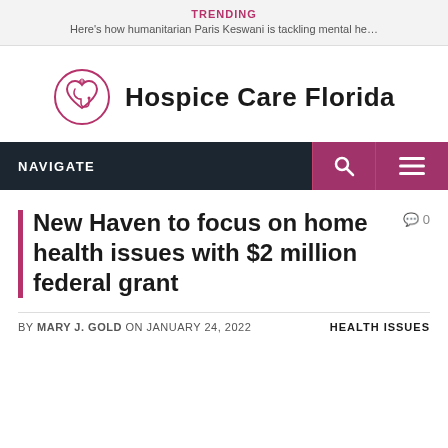TRENDING
Here's how humanitarian Paris Keswani is tackling mental he…
[Figure (logo): Hospice Care Florida logo with a heart and stethoscope icon circle and bold text 'Hospice Care Florida']
NAVIGATE
New Haven to focus on home health issues with $2 million federal grant
BY MARY J. GOLD ON JANUARY 24, 2022    HEALTH ISSUES